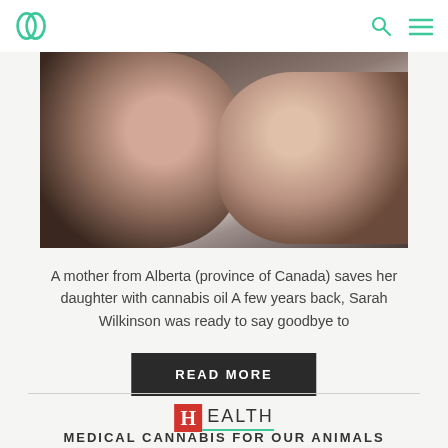be [logo] | search | menu
[Figure (photo): A mother kissing her young daughter on the cheek, both with dark hair, close-up emotional portrait photo]
A mother from Alberta (province of Canada) saves her daughter with cannabis oil A few years back, Sarah Wilkinson was ready to say goodbye to
READ MORE
HEALTH
MEDICAL CANNABIS FOR OUR ANIMALS